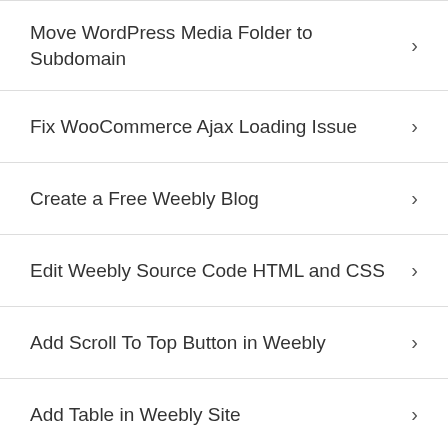Move WordPress Media Folder to Subdomain
Fix WooCommerce Ajax Loading Issue
Create a Free Weebly Blog
Edit Weebly Source Code HTML and CSS
Add Scroll To Top Button in Weebly
Add Table in Weebly Site
How to Add Advanced Data Table Widget in